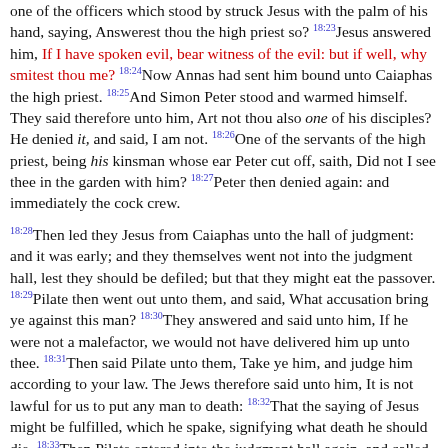one of the officers which stood by struck Jesus with the palm of his hand, saying, Answerest thou the high priest so? 18:23Jesus answered him, If I have spoken evil, bear witness of the evil: but if well, why smitest thou me? 18:24Now Annas had sent him bound unto Caiaphas the high priest. 18:25And Simon Peter stood and warmed himself. They said therefore unto him, Art not thou also one of his disciples? He denied it, and said, I am not. 18:26One of the servants of the high priest, being his kinsman whose ear Peter cut off, saith, Did not I see thee in the garden with him? 18:27Peter then denied again: and immediately the cock crew.
18:28Then led they Jesus from Caiaphas unto the hall of judgment: and it was early; and they themselves went not into the judgment hall, lest they should be defiled; but that they might eat the passover. 18:29Pilate then went out unto them, and said, What accusation bring ye against this man? 18:30They answered and said unto him, If he were not a malefactor, we would not have delivered him up unto thee. 18:31Then said Pilate unto them, Take ye him, and judge him according to your law. The Jews therefore said unto him, It is not lawful for us to put any man to death: 18:32That the saying of Jesus might be fulfilled, which he spake, signifying what death he should die. 18:33Then Pilate entered into the judgment hall again, and called Jesus, and said unto him, Art thou the King of the Jews? 18:34Jesus answered him, Sayest thou this thing of thyself, or did others tell it thee of me? 18:35Pilate answered, Am I a Jew? Thine